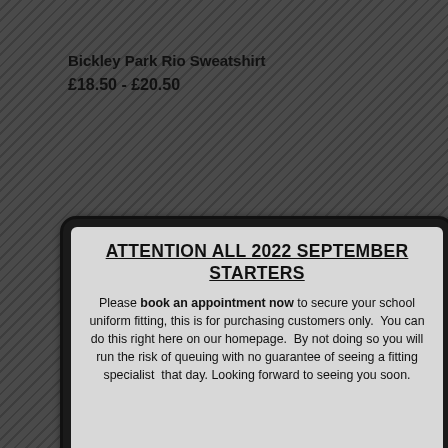Bickley Park Rio Sweatshirt
£18.50 - £20.50
[Figure (screenshot): A monitor/screen graphic displaying a popup notification with heading 'ATTENTION ALL 2022 SEPTEMBER STARTERS' and body text about booking an appointment for school uniform fitting. The monitor has a dark frame, light grey screen area, and a white bar at the bottom with a close (X) button.]
ATTENTION ALL 2022 SEPTEMBER STARTERS
Please book an appointment now to secure your school uniform fitting, this is for purchasing customers only.  You can do this right here on our homepage.  By not doing so you will run the risk of queuing with no guarantee of seeing a fitting specialist  that day.  Looking forward to seeing you soon.